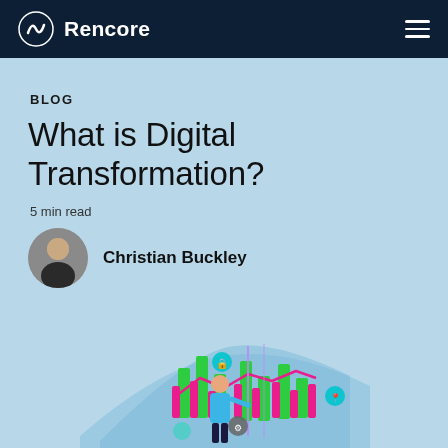Rencore
BLOG
What is Digital Transformation?
5 min read
Christian Buckley
[Figure (illustration): Person standing in front of a digital data visualization panel showing bar charts in green and pink with glowing elements and icons, representing digital transformation analytics]